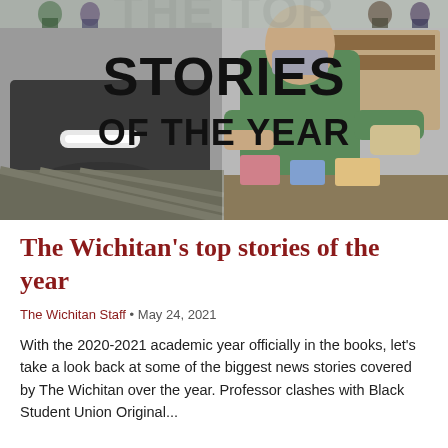[Figure (photo): Hero image collage showing 'THE TOP STORIES OF THE YEAR' text overlaid on photos — left side shows a person sitting on the ground tying shoes with white rope/tape around wrists, right side shows a person in green scrubs/medical attire sitting at a desk with items in hand. Top strip shows people standing outdoors.]
The Wichitan's top stories of the year
The Wichitan Staff • May 24, 2021
With the 2020-2021 academic year officially in the books, let's take a look back at some of the biggest news stories covered by The Wichitan over the year. Professor clashes with Black Student Union Original...